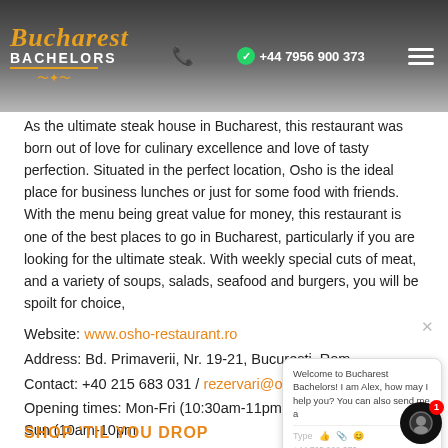Bucharest Bachelors — +44 7956 900 373
As the ultimate steak house in Bucharest, this restaurant was born out of love for culinary excellence and love of tasty perfection. Situated in the perfect location, Osho is the ideal place for business lunches or just for some food with friends. With the menu being great value for money, this restaurant is one of the best places to go in Bucharest, particularly if you are looking for the ultimate steak. With weekly special cuts of meat, and a variety of soups, salads, seafood and burgers, you will be spoilt for choice,
Website: www.osho-restaurant.ro
Address: Bd. Primaverii, Nr. 19-21, Bucuresti, Romania
Contact: +40 215 683 031 / rezervari@osho-restaurant.ro
Opening times: Mon-Fri (10:30am-11pm) Sat (10:30am-11pm) Sun (10am-10pm
SHOP 'TIL YOU DROP